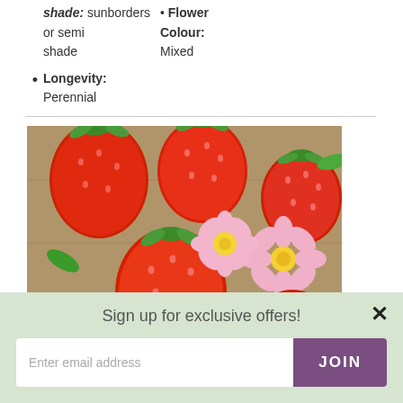Shade: sunborders or semi shade • Flower Colour: Mixed
Longevity: Perennial
[Figure (photo): Close-up photograph of red strawberries and pink flowers with yellow centres on a wooden surface]
Sign up for exclusive offers!
Enter email address
JOIN